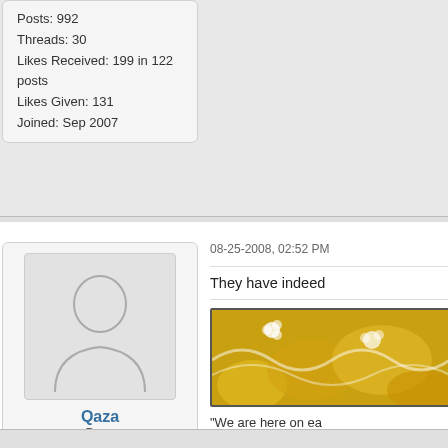Posts: 992
Threads: 30
Likes Received: 199 in 122 posts
Likes Given: 131
Joined: Sep 2007
[Figure (illustration): Default user avatar silhouette (gray person outline on light gray background)]
Qaza
Peon
Posts: 3,114
Threads: 405
Likes Received: 60 in 36 posts
Likes Given: 0
Joined: Oct 2007
08-25-2008, 02:52 PM
They have indeed
[Figure (illustration): Decorative signature image with golden/yellow floral pattern and white flower designs]
"We are here on ea
~Kurt Vonnegut